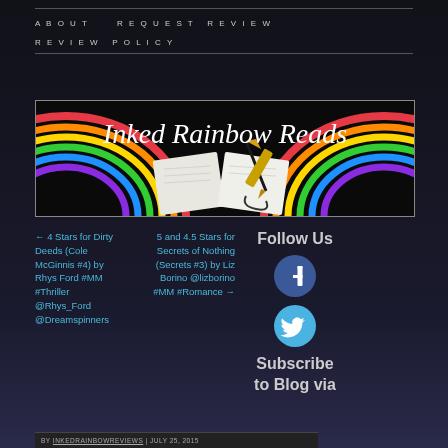ABOUT   REQUEST REVIEW   REVIEW POLICY
[Figure (illustration): Inked Rainbow Reads banner with rainbow and open book with pen]
← 4 Stars for Dirty Deeds (Cole McGinnis #4) by Rhys Ford #MM #Thriller @Rhys_Ford @Dreamspinners
5 and 4.5 Stars for Secrets of Nothing (Secrets #3) by Liz Borino @lizborino #MM #Romance →
Follow Us
[Figure (logo): Facebook circular icon]
[Figure (logo): Twitter circular icon]
Subscribe to Blog via
BY INKEDRAINBOWREVIEWS | JULY 25, 2015